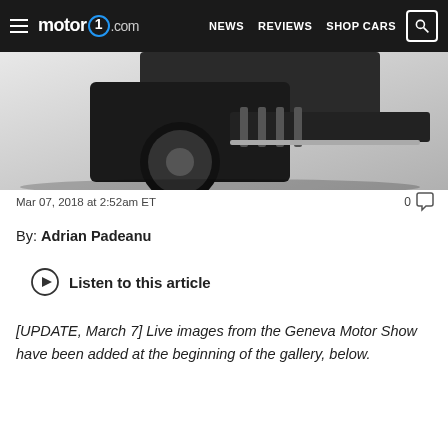motor1.com  NEWS  REVIEWS  SHOP CARS
[Figure (photo): Close-up photo of a car's rear undercarriage, showing a dark wheel, tire, and carbon fiber diffuser elements against a light background]
Mar 07, 2018 at 2:52am ET
0 comments
By: Adrian Padeanu
Listen to this article
[UPDATE, March 7] Live images from the Geneva Motor Show have been added at the beginning of the gallery, below.